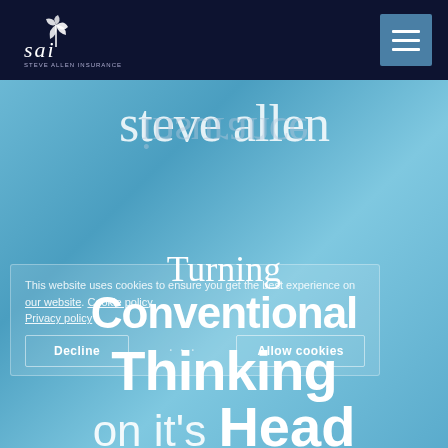[Figure (logo): SAI (Steve Allen Insurance) logo with stylized leaf/plant icon in white on dark navy background]
[Figure (screenshot): Steve Allen Insurance website hero section with blue gradient background showing 'steve allen insurance' text reflected/flipped, then 'Turning Conventional Thinking on it's Head' tagline with cookie consent overlay]
This website uses cookies to ensure you get the best experience on our website. Cookie policy Privacy policy
Decline · Allow cookies
Turning Conventional Thinking on it's Head